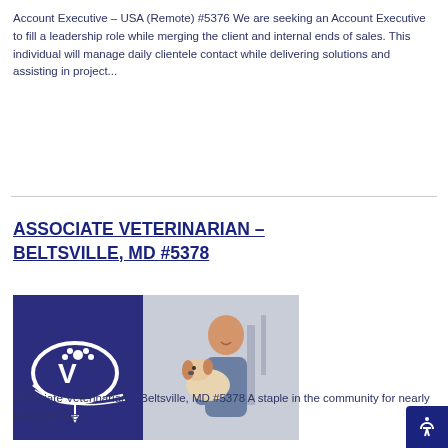Account Executive – USA (Remote) #5376 We are seeking an Account Executive to fill a leadership role while merging the client and internal ends of sales. This individual will manage daily clientele contact while delivering solutions and assisting in project...
ASSOCIATE VETERINARIAN – BELTSVILLE, MD #5378
[Figure (photo): Left half: dark blue veterinary clinic logo with stylized V and paw print; Right half: photo of a smiling veterinarian in scrubs holding a Jack Russell Terrier dog in a clinic setting]
Associate Veterinarian – Beltsville, MD #5378 A staple in the community for nearly 60 years, we